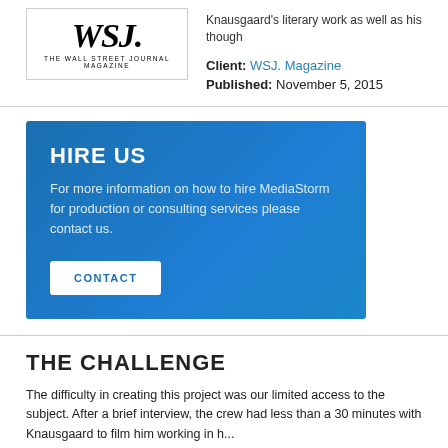[Figure (logo): WSJ. The Wall Street Journal Magazine logo in a bordered box]
Knausgaard's literary work as well as his though
Client: WSJ. Magazine
Published: November 5, 2015
HIRE US
For more information on how to hire MediaStorm for production or consulting services please contact us.
CONTACT
THE CHALLENGE
The difficulty in creating this project was our limited access to the subject. After a brief interview, the crew had less than a 30 minutes with Knausgaard to film him working in h...